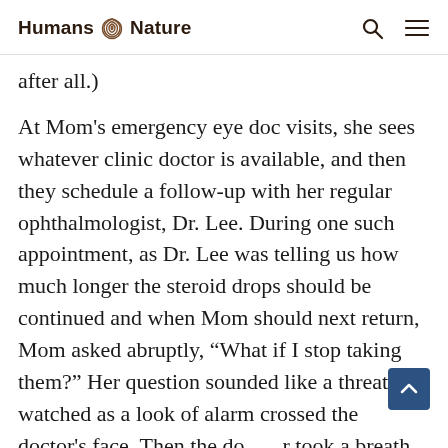Humans Nature
after all.)
At Mom’s emergency eye doc visits, she sees whatever clinic doctor is available, and then they schedule a follow-up with her regular ophthalmologist, Dr. Lee. During one such appointment, as Dr. Lee was telling us how much longer the steroid drops should be continued and when Mom should next return, Mom asked abruptly, “What if I stop taking them?” Her question sounded like a threat. I watched as a look of alarm crossed the doctor’s face. Then the doctor took a breath and answered Mom neutrally, calmly: